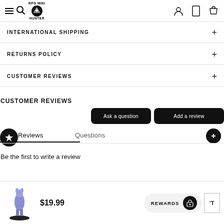RPG Mini Hunter (logo/navigation header)
INTERNATIONAL SHIPPING
RETURNS POLICY
CUSTOMER REVIEWS
CUSTOMER REVIEWS
Ask a question
Add a review
Reviews
Questions
Be the first to write a review
$19.99
REWARDS